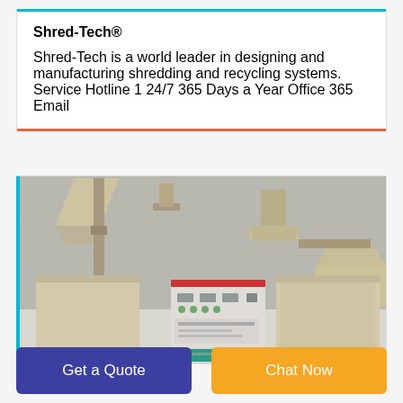Shred-Tech®
Shred-Tech is a world leader in designing and manufacturing shredding and recycling systems. Service Hotline 1 24/7 365 Days a Year Office 365 Email
[Figure (photo): Industrial shredding/recycling machine with hopper, conveyor, control panel, and collection bins, in beige/cream color, photographed in a workshop setting.]
Get a Quote
Chat Now